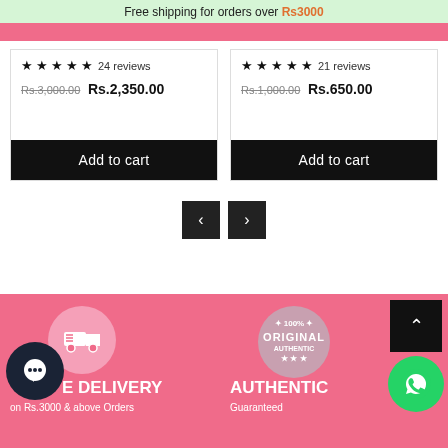Free shipping for orders over Rs3000
★★★★★ 24 reviews
Rs.3,000.00 Rs.2,350.00
Add to cart
★★★★★ 21 reviews
Rs.1,000.00 Rs.650.00
Add to cart
< >
FREE DELIVERY on Rs.3000 & above Orders
100% ORIGINAL AUTHENTIC Guaranteed